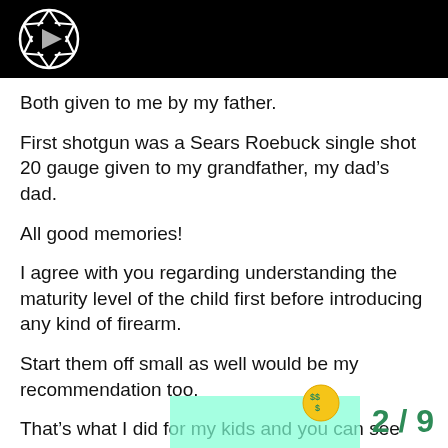[Figure (logo): Camera shutter/lens logo with play button triangle in center, white on black background]
Both given to me by my father.
First shotgun was a Sears Roebuck single shot 20 gauge given to my grandfather, my dad’s dad.
All good memories!
I agree with you regarding understanding the maturity level of the child first before introducing any kind of firearm.
Start them off small as well would be my recommendation too.
That’s what I did for my kids and you can see much of that in the following thread;
Recruiting new people to the sport of
2 / 9